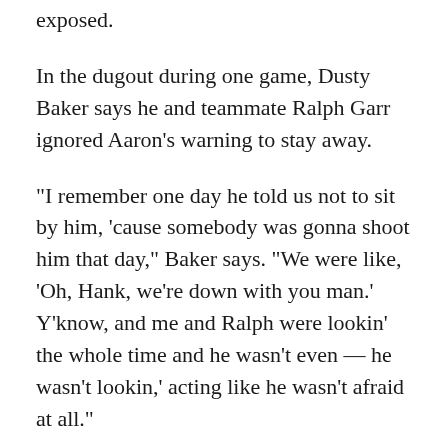exposed.
In the dugout during one game, Dusty Baker says he and teammate Ralph Garr ignored Aaron's warning to stay away.
"I remember one day he told us not to sit by him, 'cause somebody was gonna shoot him that day," Baker says. "We were like, 'Oh, Hank, we're down with you man.' Y'know, and me and Ralph were lookin' the whole time and he wasn't even — he wasn't lookin,' acting like he wasn't afraid at all."
Aaron revealed little about the threats and taunts, even to his closest teammates.
"Hank was kind of like your Dad," says Baker, "who goes to work and you know work's not always rosy, but Dad never tells you about it."